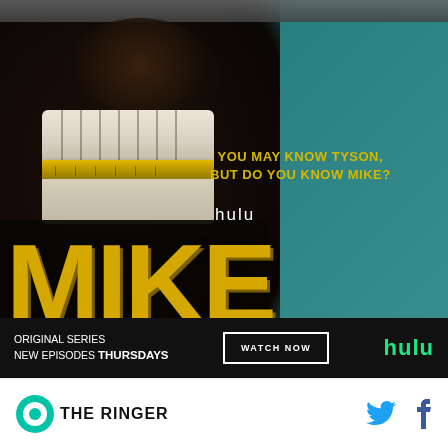[Figure (photo): Hulu advertisement for the original series 'MIKE' — a close-up of a man (depicting Mike Tyson) with gold teeth/grill, smiling widely. Teal background on the right side. Yellow tagline text reads 'YOU MAY KNOW TYSON, BUT DO YOU KNOW MIKE?'. Hulu branding in white. Large yellow textured 'MIKE' title. Bottom bar shows 'ORIGINAL SERIES NEW EPISODES THURSDAYS', 'WATCH NOW' button, and Hulu green logo.]
THE RINGER [with Twitter and Facebook social icons]